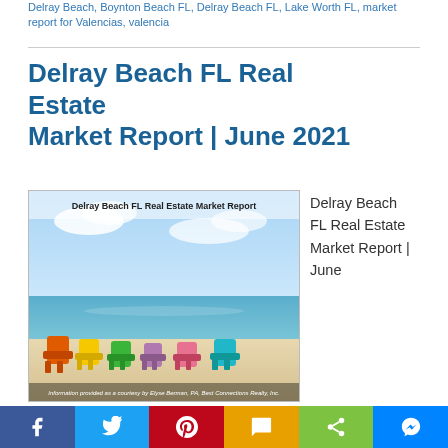Delray Beach, Boynton Beach FL, Delray Beach FL, Lake Worth FL, market report for Valencias, valencia
Delray Beach FL Real Estate Market Report | June 2021
[Figure (photo): Photo of colorful beach chairs on a sandy beach with ocean and sky background. Text overlay: 'Delray Beach FL Real Estate Market Report'. Bottom caption: 'Information provided as a courtesy by Elyse Berman, PA, Best Connections Realty, Inc.']
Delray Beach FL Real Estate Market Report | June
Facebook Twitter Pinterest SMS Share Messenger